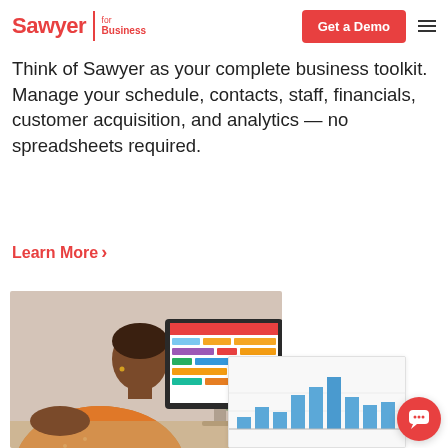Sawyer for Business | Get a Demo
Think of Sawyer as your complete business toolkit. Manage your schedule, contacts, staff, financials, customer acquisition, and analytics — no spreadsheets required.
Learn More >
[Figure (photo): Person in orange shirt looking at a desktop computer monitor displaying a colorful calendar/scheduling interface with red, blue, orange, and green blocks]
[Figure (bar-chart): Partial bar chart showing blue vertical bars of varying heights, overlapping with the photo]
[Figure (other): Coral/red circular chat button with speech bubble icon in bottom right corner]